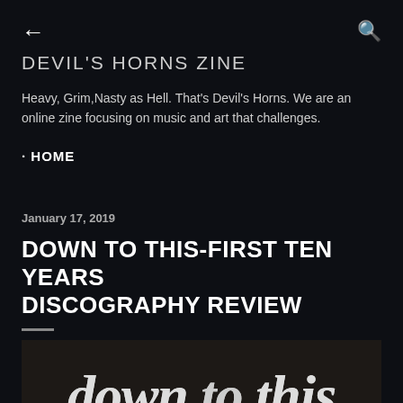← (back) | Q (search)
DEVIL'S HORNS ZINE
Heavy, Grim,Nasty as Hell. That's Devil's Horns. We are an online zine focusing on music and art that challenges.
· HOME
January 17, 2019
DOWN TO THIS-FIRST TEN YEARS DISCOGRAPHY REVIEW
[Figure (photo): Black and white band logo image reading 'down to this' in gothic/blackletter style lettering on a dark textured background]